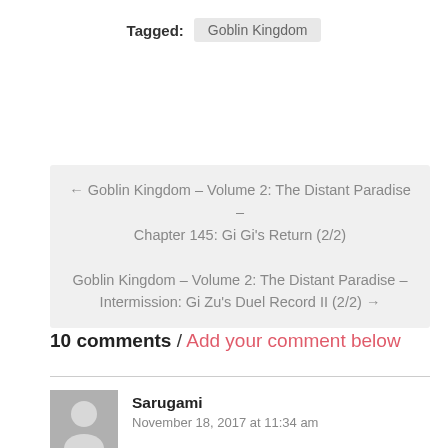Tagged: Goblin Kingdom
← Goblin Kingdom – Volume 2: The Distant Paradise – Chapter 145: Gi Gi's Return (2/2)
Goblin Kingdom – Volume 2: The Distant Paradise – Intermission: Gi Zu's Duel Record II (2/2) →
10 comments / Add your comment below
Sarugami
November 18, 2017 at 11:34 am